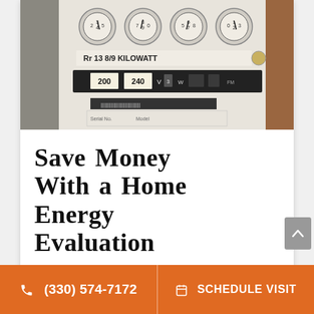[Figure (photo): Close-up photo of an electric kilowatt hour meter showing dials and label reading CL 200 240V 3W with meter markings]
Save Money With a Home Energy Evaluation
Aug 10, 2022
(330) 574-7172   SCHEDULE VISIT